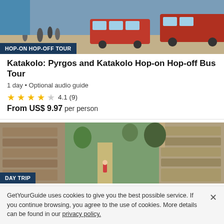[Figure (photo): Photo of red hop-on hop-off buses at a coastal location with tourists]
HOP-ON HOP-OFF TOUR
Katakolo: Pyrgos and Katakolo Hop-on Hop-off Bus Tour
1 day • Optional audio guide
4.1 (9)
From US$ 9.97 per person
[Figure (photo): Photo of ancient stone ruins corridor in Olympia with visitors in the distance]
DAY TRIP
Full Day Shore Excursion in Katakolon and Olympia
7 hours • Skip the line
GetYourGuide uses cookies to give you the best possible service. If you continue browsing, you agree to the use of cookies. More details can be found in our privacy policy.